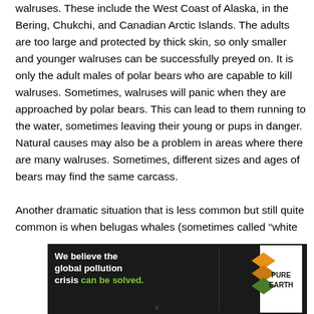walruses. These include the West Coast of Alaska, in the Bering, Chukchi, and Canadian Arctic Islands. The adults are too large and protected by thick skin, so only smaller and younger walruses can be successfully preyed on. It is only the adult males of polar bears who are capable to kill walruses. Sometimes, walruses will panic when they are approached by polar bears. This can lead to them running to the water, sometimes leaving their young or pups in danger. Natural causes may also be a problem in areas where there are many walruses. Sometimes, different sizes and ages of bears may find the same carcass.

Another dramatic situation that is less common but still quite common is when belugas whales (sometimes called “white
[Figure (infographic): Pure Earth advertisement banner. Left section (dark background): 'We believe the global pollution crisis can be solved.' with 'can be solved.' in green. Middle section: 'In a world where pollution doesn't stop at borders, we can all be part of the solution. JOIN US.' Right section (white background): Pure Earth logo with diamond/chevron shapes in orange and green, text 'PURE EARTH'.]
x